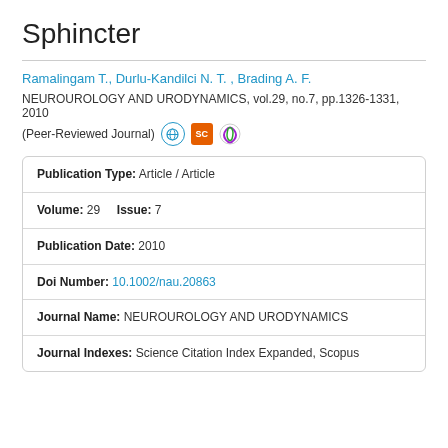Sphincter
Ramalingam T., Durlu-Kandilci N. T. , Brading A. F.
NEUROUROLOGY AND URODYNAMICS, vol.29, no.7, pp.1326-1331, 2010
(Peer-Reviewed Journal)
| Publication Type: | Article / Article |
| Volume: 29   Issue: | 7 |
| Publication Date: | 2010 |
| Doi Number: | 10.1002/nau.20863 |
| Journal Name: | NEUROUROLOGY AND URODYNAMICS |
| Journal Indexes: | Science Citation Index Expanded, Scopus |